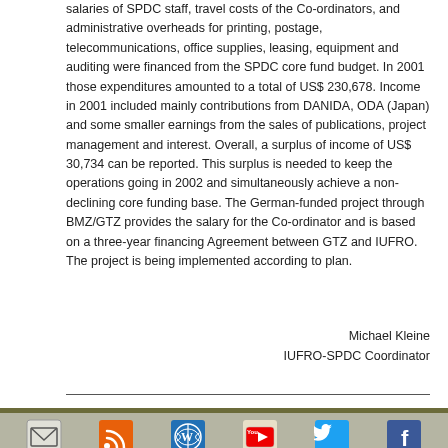salaries of SPDC staff, travel costs of the Co-ordinators, and administrative overheads for printing, postage, telecommunications, office supplies, leasing, equipment and auditing were financed from the SPDC core fund budget. In 2001 those expenditures amounted to a total of US$ 230,678. Income in 2001 included mainly contributions from DANIDA, ODA (Japan) and some smaller earnings from the sales of publications, project management and interest. Overall, a surplus of income of US$ 30,734 can be reported. This surplus is needed to keep the operations going in 2002 and simultaneously achieve a non-declining core funding base. The German-funded project through BMZ/GTZ provides the salary for the Co-ordinator and is based on a three-year financing Agreement between GTZ and IUFRO. The project is being implemented according to plan.
Michael Kleine
IUFRO-SPDC Coordinator
© 2005-2015 IUFRO – Legal
CMS/Programming: Ajado - web, mobile & marketing (linked to www.ajado.com), Design: spick&span (linked to www.spickandspan.at).
[Figure (other): Social media icons row: email, RSS feed, WordPress, YouTube, Twitter, Facebook]